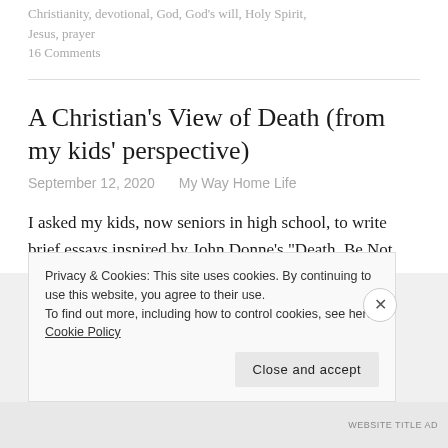Christianity, devotional, God, God's will, Holy Spirit, Jesus, prayer
16 Comments
A Christian's View of Death (from my kids' perspective)
September 12, 2020   My Way Home Life
I asked my kids, now seniors in high school, to write brief essays inspired by John Donne's "Death, Be Not
Privacy & Cookies: This site uses cookies. By continuing to use this website, you agree to their use. To find out more, including how to control cookies, see here: Cookie Policy
Close and accept